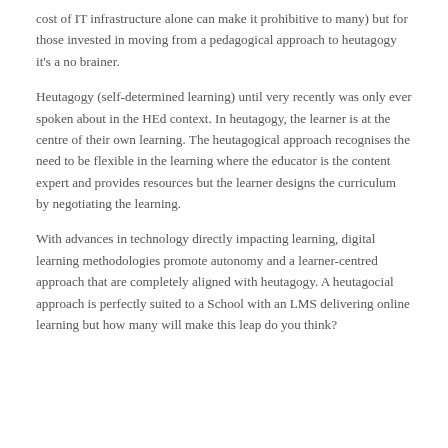cost of IT infrastructure alone can make it prohibitive to many) but for those invested in moving from a pedagogical approach to heutagogy it's a no brainer.
Heutagogy (self-determined learning) until very recently was only ever spoken about in the HEd context. In heutagogy, the learner is at the centre of their own learning. The heutagogical approach recognises the need to be flexible in the learning where the educator is the content expert and provides resources but the learner designs the curriculum by negotiating the learning.
With advances in technology directly impacting learning, digital learning methodologies promote autonomy and a learner-centred approach that are completely aligned with heutagogy. A heutagocial approach is perfectly suited to a School with an LMS delivering online learning but how many will make this leap do you think?